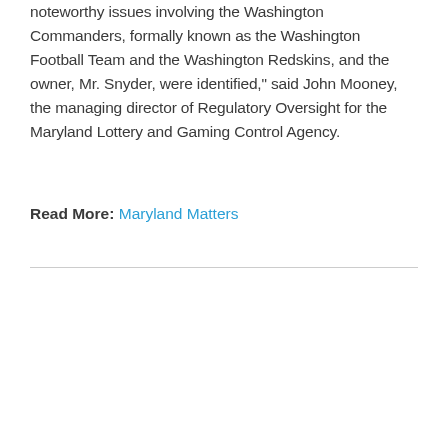noteworthy issues involving the Washington Commanders, formally known as the Washington Football Team and the Washington Redskins, and the owner, Mr. Snyder, were identified," said John Mooney, the managing director of Regulatory Oversight for the Maryland Lottery and Gaming Control Agency.
Read More: Maryland Matters